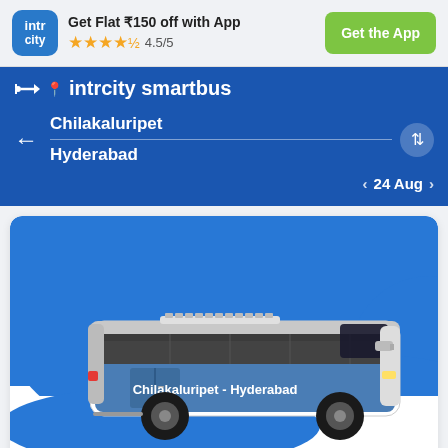[Figure (screenshot): IntrCity app header banner with logo, 'Get Flat ₹150 off with App', 4.5/5 stars rating, and 'Get the App' green button]
intrcity smartbus
Chilakaluripet → Hyderabad, 24 Aug
[Figure (illustration): Blue and white intercity bus with text 'Chilakaluripet - Hyderabad' on its side, on a blue background card]
Trip Overview